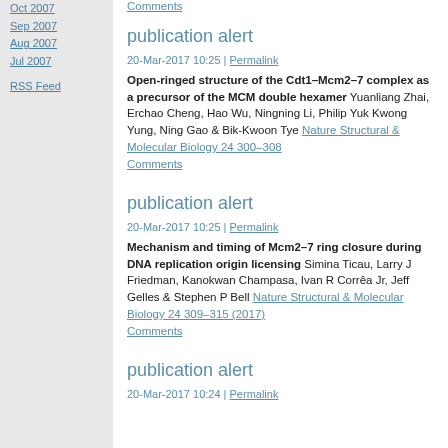Oct 2007
Sep 2007
Aug 2007
Jul 2007
RSS Feed
Comments
publication alert
20-Mar-2017 10:25 | Permalink
Open-ringed structure of the Cdt1–Mcm2–7 complex as a precursor of the MCM double hexamer Yuanliang Zhai, Erchao Cheng, Hao Wu, Ningning Li, Philip Yuk Kwong Yung, Ning Gao & Bik-Kwoon Tye Nature Structural & Molecular Biology 24 300–308
Comments
publication alert
20-Mar-2017 10:25 | Permalink
Mechanism and timing of Mcm2–7 ring closure during DNA replication origin licensing Simina Ticau, Larry J Friedman, Kanokwan Champasa, Ivan R Corrêa Jr, Jeff Gelles & Stephen P Bell Nature Structural & Molecular Biology 24 309–315 (2017)
Comments
publication alert
20-Mar-2017 10:24 | Permalink